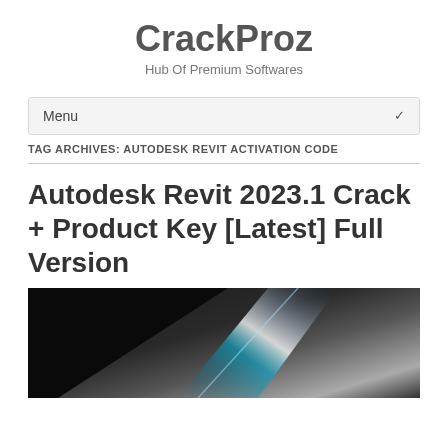CrackProz
Hub Of Premium Softwares
Menu
TAG ARCHIVES: AUTODESK REVIT ACTIVATION CODE
Autodesk Revit 2023.1 Crack + Product Key [Latest] Full Version
[Figure (photo): Dark abstract image of a sleek reflective surface with a light streak, likely representing software or technology branding for Autodesk Revit]